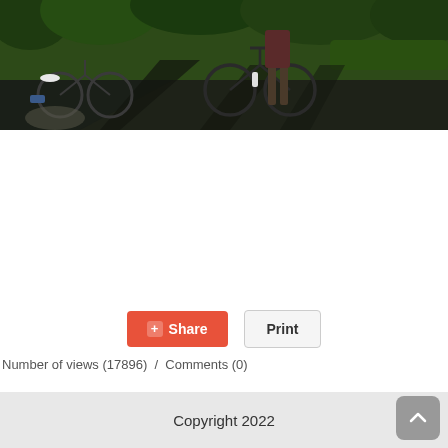[Figure (photo): Outdoor photo showing people with bicycles on a path, surrounded by green trees and grass, taken in sunlight creating shadows on the ground]
Number of views (17896) / Comments (0)
Copyright 2022